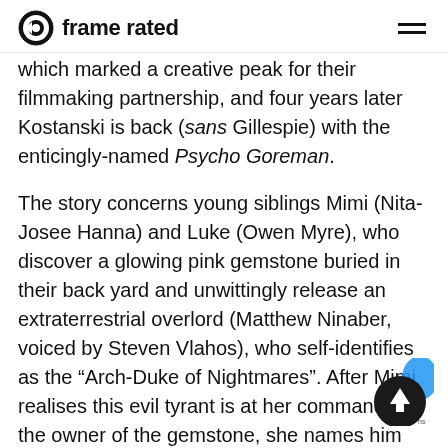frame rated
which marked a creative peak for their filmmaking partnership, and four years later Kostanski is back (sans Gillespie) with the enticingly-named Psycho Goreman.
The story concerns young siblings Mimi (Nita-Josee Hanna) and Luke (Owen Myre), who discover a glowing pink gemstone buried in their back yard and unwittingly release an extraterrestrial overlord (Matthew Ninaber, voiced by Steven Vlahos), who self-identifies as the “Arch-Duke of Nightmares”. After Mimi realises this evil tyrant is at her command as the owner of the gemstone, she names him “Psycho Goreman” (or “PG”) and decides to have fun